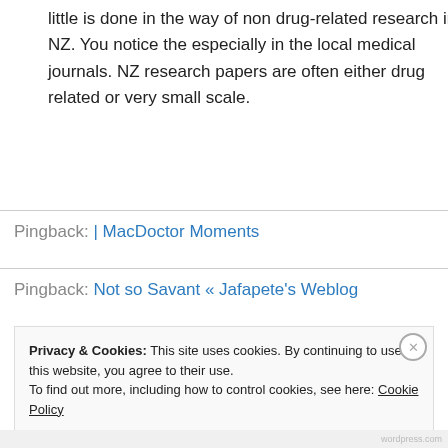little is done in the way of non drug-related research in NZ. You notice the especially in the local medical journals. NZ research papers are often either drug related or very small scale.
↳ Reply
Pingback: | MacDoctor Moments
Pingback: Not so Savant « Jafapete's Weblog
Privacy & Cookies: This site uses cookies. By continuing to use this website, you agree to their use.
To find out more, including how to control cookies, see here: Cookie Policy